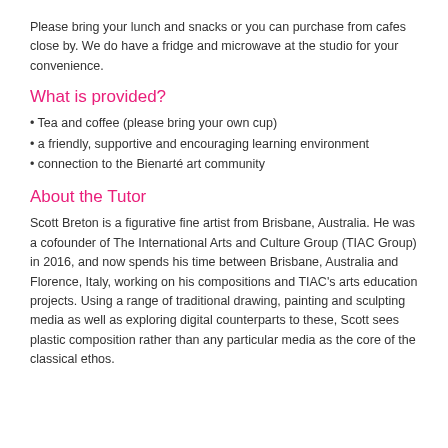Please bring your lunch and snacks or you can purchase from cafes close by. We do have a fridge and microwave at the studio for your convenience.
What is provided?
• Tea and coffee (please bring your own cup)
• a friendly, supportive and encouraging learning environment
• connection to the Bienarte art community
About the Tutor
Scott Breton is a figurative fine artist from Brisbane, Australia. He was a cofounder of The International Arts and Culture Group (TIAC Group) in 2016, and now spends his time between Brisbane, Australia and Florence, Italy, working on his compositions and TIAC's arts education projects. Using a range of traditional drawing, painting and sculpting media as well as exploring digital counterparts to these, Scott sees plastic composition rather than any particular media as the core of the classical ethos.